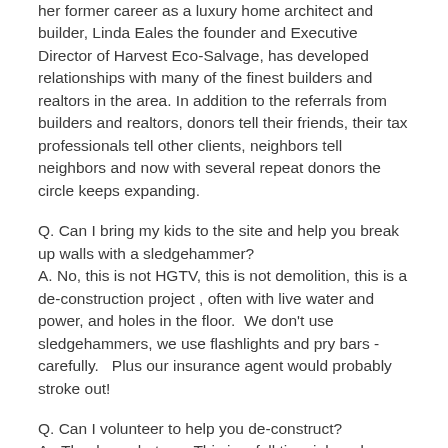her former career as a luxury home architect and builder, Linda Eales the founder and Executive Director of Harvest Eco-Salvage, has developed relationships with many of the finest builders and realtors in the area. In addition to the referrals from builders and realtors, donors tell their friends, their tax professionals tell other clients, neighbors tell neighbors and now with several repeat donors the circle keeps expanding.
Q. Can I bring my kids to the site and help you break up walls with a sledgehammer?
A. No, this is not HGTV, this is not demolition, this is a de-construction project , often with live water and power, and holes in the floor. We don't use sledgehammers, we use flashlights and pry bars - carefully. Plus our insurance agent would probably stroke out!
Q. Can I volunteer to help you de-construct?
A. Thank you but no. This is a full time job and everyone